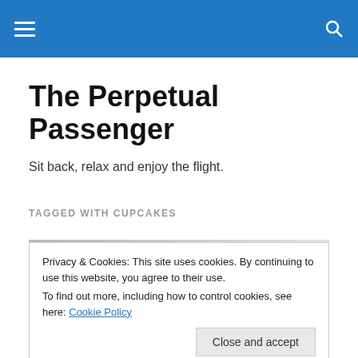The Perpetual Passenger – navigation header
The Perpetual Passenger
Sit back, relax and enjoy the flight.
TAGGED WITH CUPCAKES
[Figure (photo): Photo of cupcakes in a box on a decorative tablecloth]
Privacy & Cookies: This site uses cookies. By continuing to use this website, you agree to their use.
To find out more, including how to control cookies, see here: Cookie Policy
[Figure (photo): Partial photo at bottom of page showing baked goods]